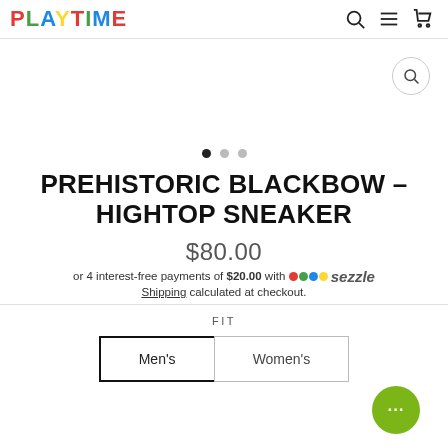PLAYTYME — navigation header with search, menu, and cart icons
[Figure (other): Product image area with zoom/magnify button and white background]
• • •  (carousel dots, first active)
PREHISTORIC BLACKBOW – HIGHTOP SNEAKER
$80.00
or 4 interest-free payments of $20.00 with ⬤ sezzle
Shipping calculated at checkout.
FIT
Men's   Women's